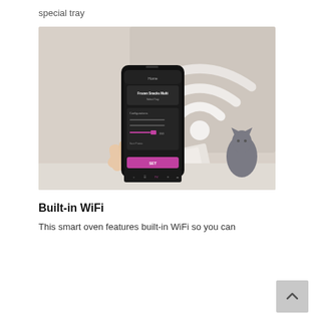special tray
[Figure (photo): A hand holding a smartphone displaying a smart oven app with 'Frozen Snacks Multi' setting. Behind the phone is a large WiFi symbol overlaid on a white background, with a small grey cat figurine and a white device (likely the smart oven hub) visible in the background.]
Built-in WiFi
This smart oven features built-in WiFi so you can